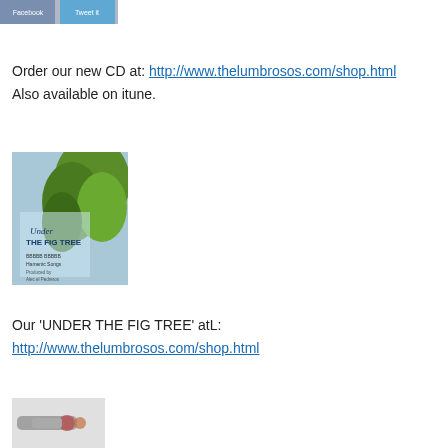[Figure (photo): A small banner image showing social media icons and text (Facebook/Twitter buttons)]
Order our new CD at: http://www.thelumbrosos.com/shop.html
Also available on itune.
[Figure (photo): Book cover image for 'Under the Fig Tree' with green foliage on a blue background]
Our 'UNDER THE FIG TREE' atL:
http://www.thelumbrosos.com/shop.html
[Figure (photo): Small photo of a piece of jewelry or decorative object]